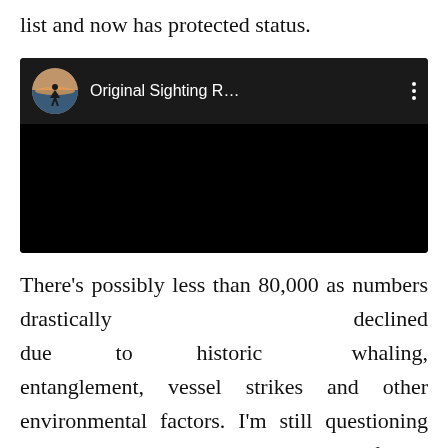list and now has protected status.
[Figure (screenshot): A video embed with a black background showing a circular avatar thumbnail of a person on a beach at sunset, followed by the text 'Original Sighting R...' with a three-dot menu icon]
There’s possibly less than 80,000 as numbers drastically declined due to historic whaling, entanglement, vessel strikes and other environmental factors. I’m still questioning why it has travelled to the South coast of